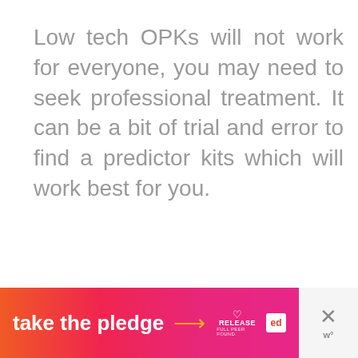Low tech OPKs will not work for everyone, you may need to seek professional treatment. It can be a bit of trial and error to find a predictor kits which will work best for you.
[Figure (infographic): Promotional banner with gradient orange-to-pink background. Text reads 'take the pledge' with an arrow. Contains Release and Ed logos. A close button with X and 'w°' is on the right.]